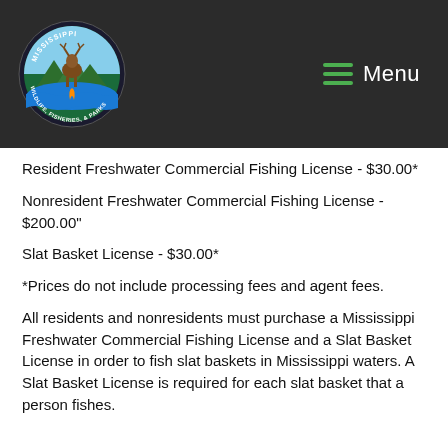[Figure (logo): Mississippi Wildlife, Fisheries, & Parks circular logo with deer and nature imagery]
Resident Freshwater Commercial Fishing License - $30.00*
Nonresident Freshwater Commercial Fishing License - $200.00"
Slat Basket License - $30.00*
*Prices do not include processing fees and agent fees.
All residents and nonresidents must purchase a Mississippi Freshwater Commercial Fishing License and a Slat Basket License in order to fish slat baskets in Mississippi waters. A Slat Basket License is required for each slat basket that a person fishes.